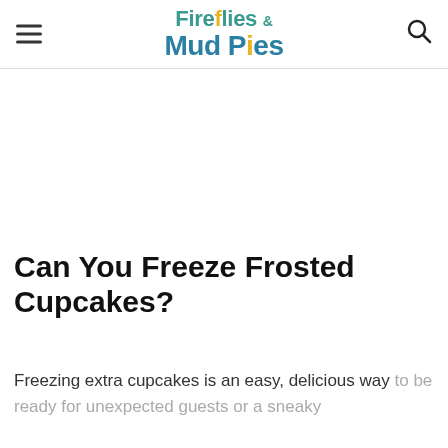Fireflies & Mud Pies
Can You Freeze Frosted Cupcakes?
Freezing extra cupcakes is an easy, delicious way to be ready for unexpected guests or a sneaky snack attack! To freeze frosted cupcakes, simply